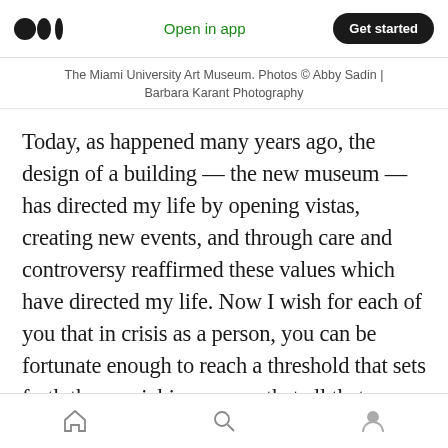Open in app | Get started
The Miami University Art Museum. Photos © Abby Sadin | Barbara Karant Photography
Today, as happened many years ago, the design of a building — the new museum — has directed my life by opening vistas, creating new events, and through care and controversy reaffirmed these values which have directed my life. Now I wish for each of you that in crisis as a person, you can be fortunate enough to reach a threshold that sets forth the special journey so that all that was accomplished in school as rule or right, that all that was learned in experience
Home | Search | Profile